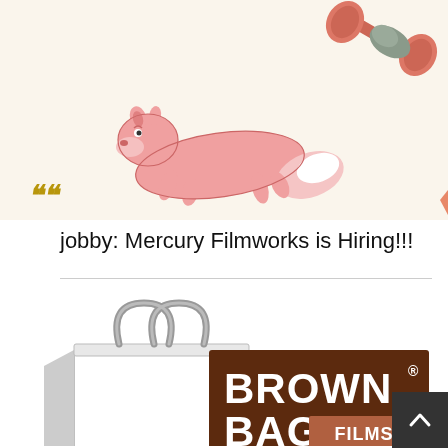[Figure (illustration): Cartoon illustration on a cream/beige background showing a pink running fox-like animal in the center-left, and a red/orange dumbbell or weightlifting object in the upper right. Small golden chevron marks are in the lower left corner.]
jobby: Mercury Filmworks is Hiring!!!
[Figure (logo): Brown Bag Films logo: a white paper shopping bag on the left, and a dark brown rectangle on the right with 'BROWN' in large white bold text with a registered trademark symbol, 'BAG' in large white bold text next to a smaller brown-background box reading 'FILMS', and 'WE LOVE ANIMATION' in beige/tan text at the bottom.]